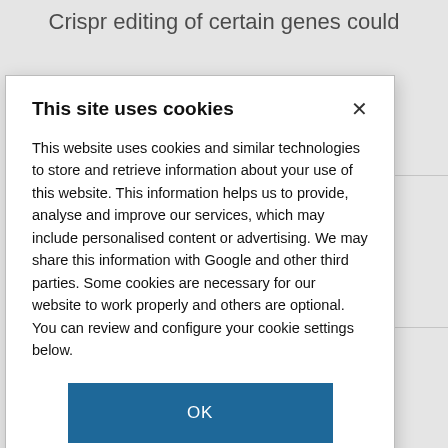Crispr editing of certain genes could
ntaining
by low pressure
crete blocks
magnesium
derally-funded
t be open access
This site uses cookies

This website uses cookies and similar technologies to store and retrieve information about your use of this website. This information helps us to provide, analyse and improve our services, which may include personalised content or advertising. We may share this information with Google and other third parties. Some cookies are necessary for our website to work properly and others are optional. You can review and configure your cookie settings below.

OK

COOKIE SETTINGS